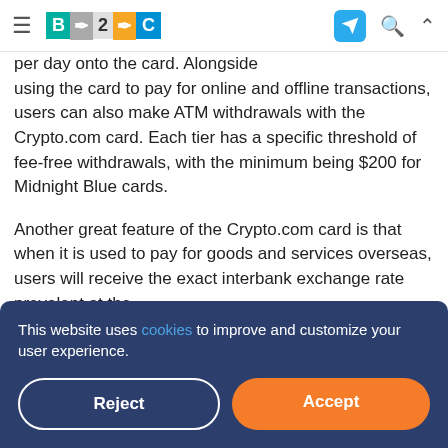B2C — navigation bar with logo, telegram icon, search, and up arrow
per day onto the card. Alongside using the card to pay for online and offline transactions, users can also make ATM withdrawals with the Crypto.com card. Each tier has a specific threshold of fee-free withdrawals, with the minimum being $200 for Midnight Blue cards.
Another great feature of the Crypto.com card is that when it is used to pay for goods and services overseas, users will receive the exact interbank exchange rate prevalent at the
This website uses cookies to improve and customize your user experience.
Reject
Accept